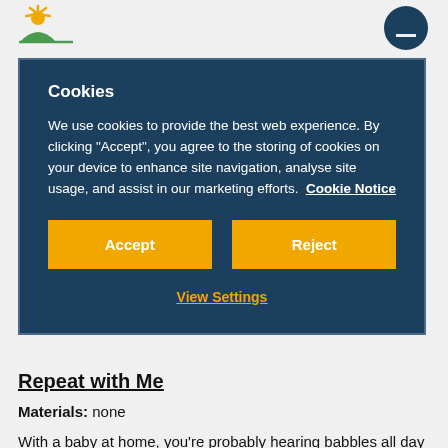[Figure (logo): Sun/horizon logo icon top left, and dark teal circle icon top right]
Cookies
We use cookies to provide the best web experience. By clicking "Accept", you agree to the storing of cookies on your device to enhance site navigation, analyse site usage, and assist in our marketing efforts.  Cookie Notice
Accept
Reject
View Settings
Repeat with Me
Materials: none
With a baby at home, you're probably hearing babbles all day long. What are some of the most common sounds you